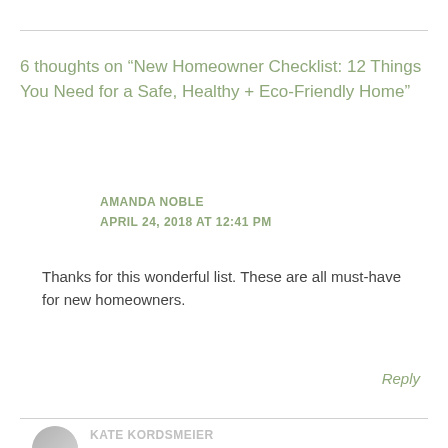6 thoughts on “New Homeowner Checklist: 12 Things You Need for a Safe, Healthy + Eco-Friendly Home”
AMANDA NOBLE
APRIL 24, 2018 AT 12:41 PM
Thanks for this wonderful list. These are all must-have for new homeowners.
Reply
KATE KORDSMEIER
MAY 2, 2018 AT 3:33 PM